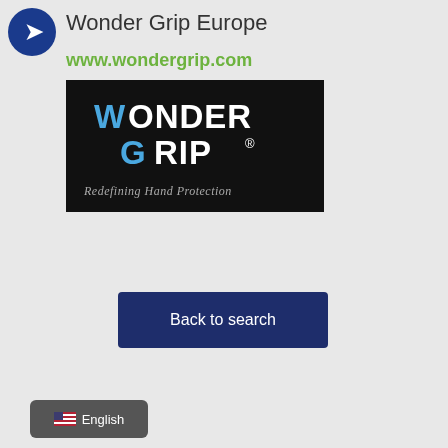Wonder Grip Europe
www.wondergrip.com
[Figure (logo): Wonder Grip logo on black background with text 'Redefining Hand Protection']
Back to search
English